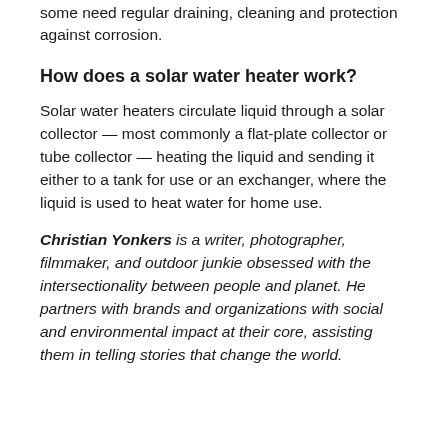some need regular draining, cleaning and protection against corrosion.
How does a solar water heater work?
Solar water heaters circulate liquid through a solar collector — most commonly a flat-plate collector or tube collector — heating the liquid and sending it either to a tank for use or an exchanger, where the liquid is used to heat water for home use.
Christian Yonkers is a writer, photographer, filmmaker, and outdoor junkie obsessed with the intersectionality between people and planet. He partners with brands and organizations with social and environmental impact at their core, assisting them in telling stories that change the world.